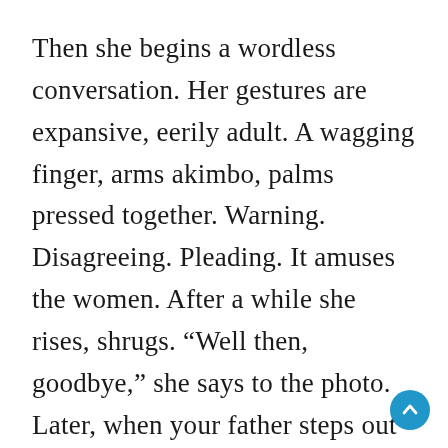Then she begins a wordless conversation. Her gestures are expansive, eerily adult. A wagging finger, arms akimbo, palms pressed together. Warning. Disagreeing. Pleading. It amuses the women. After a while she rises, shrugs. “Well then, goodbye,” she says to the photo. Later, when your father steps out to say hello, she runs and hides behind her mother.
When they leave at noon, the sky darkens, sunless and dismal. But there are no clouds,